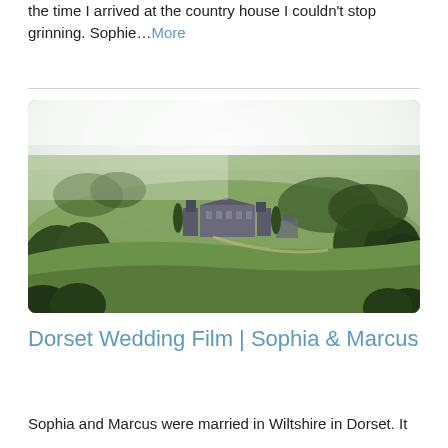the time I arrived at the country house I couldn't stop grinning. Sophie…More
[Figure (photo): Aerial view of a large country house estate surrounded by green fields and woodland in Dorset/Wiltshire, England. The grand manor building sits centrally in landscaped grounds with rolling countryside visible.]
Dorset Wedding Film | Sophia & Marcus
Sophia and Marcus were married in Wiltshire in Dorset. It